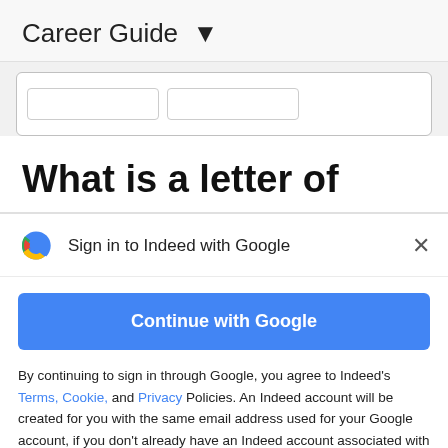Career Guide ▾
[Figure (screenshot): Partial search bar UI with two input fields visible inside a white rounded rectangle]
What is a letter of
Sign in to Indeed with Google
[Figure (other): Blue button: Continue with Google]
By continuing to sign in through Google, you agree to Indeed's Terms, Cookie, and Privacy Policies. An Indeed account will be created for you with the same email address used for your Google account, if you don't already have an Indeed account associated with that email. Indeed will send you marketing emails unless you object to these and you can unsubscribe at any time.